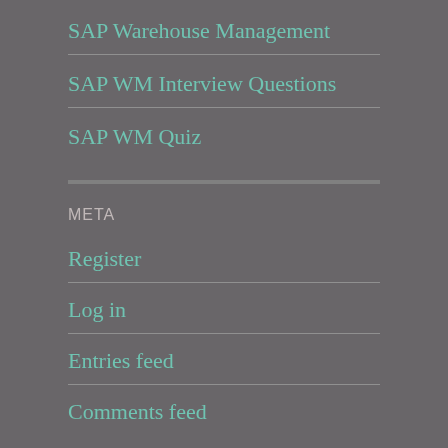SAP Warehouse Management
SAP WM Interview Questions
SAP WM Quiz
META
Register
Log in
Entries feed
Comments feed